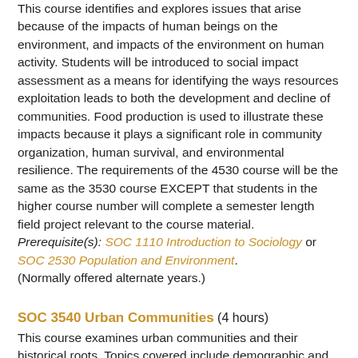This course identifies and explores issues that arise because of the impacts of human beings on the environment, and impacts of the environment on human activity. Students will be introduced to social impact assessment as a means for identifying the ways resources exploitation leads to both the development and decline of communities. Food production is used to illustrate these impacts because it plays a significant role in community organization, human survival, and environmental resilience. The requirements of the 4530 course will be the same as the 3530 course EXCEPT that students in the higher course number will complete a semester length field project relevant to the course material. Prerequisite(s): SOC 1110 Introduction to Sociology or SOC 2530 Population and Environment. (Normally offered alternate years.)
SOC 3540 Urban Communities (4 hours)
This course examines urban communities and their historical roots. Topics covered include demographic and ecological trends, cross-cultural varientions, and current theories about urban processes and community in order to foster an understanding of this dominant form of human social organization.